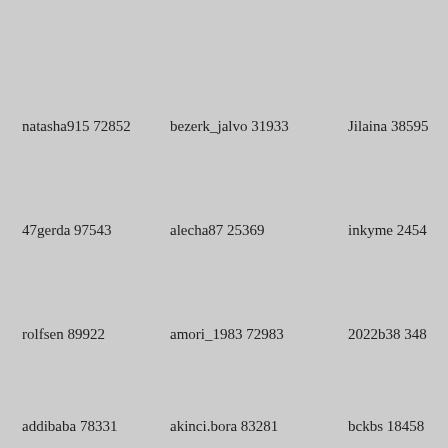natasha915 72852
bezerk_jalvo 31933
Jilaina 38595
47gerda 97543
alecha87 25369
inkyme 2454
rolfsen 89922
amori_1983 72983
2022b38 348
addibaba 78331
akinci.bora 83281
bckbs 18458